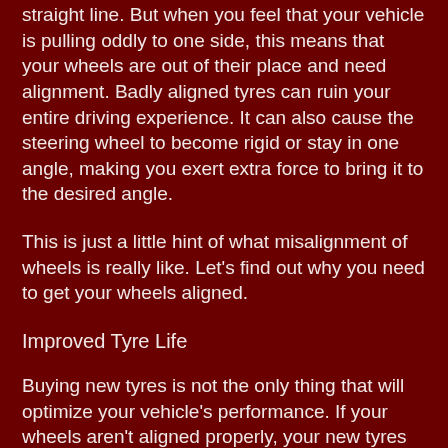straight line. But when you feel that your vehicle is pulling oddly to one side, this means that your wheels are out of their place and need alignment. Badly aligned tyres can ruin your entire driving experience. It can also cause the steering wheel to become rigid or stay in one angle, making you exert extra force to bring it to the desired angle.
This is just a little hint of what misalignment of wheels is really like. Let's find out why you need to get your wheels aligned.
Improved Tyre Life
Buying new tyres is not the only thing that will optimize your vehicle's performance. If your wheels aren't aligned properly, your new tyres will wear out. The wheels should always be aligned to the manufacturer's preferred specifications. This way the tread life of your tyres will maximize, giving you a smooth and worry-free driving experience. Abnormal wheel alignment increases the wear and tear on the tyres, making them vulnerable to damage.
Better Vehicle Handling